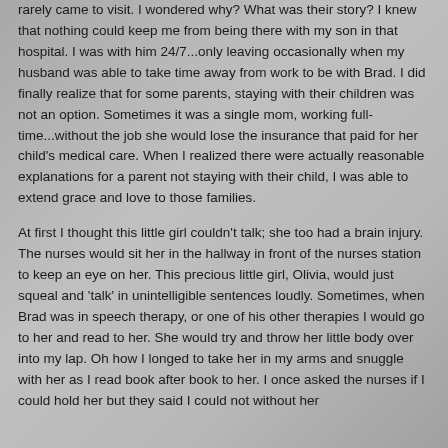rarely came to visit. I wondered why? What was their story? I knew that nothing could keep me from being there with my son in that hospital. I was with him 24/7...only leaving occasionally when my husband was able to take time away from work to be with Brad. I did finally realize that for some parents, staying with their children was not an option. Sometimes it was a single mom, working full-time...without the job she would lose the insurance that paid for her child's medical care. When I realized there were actually reasonable explanations for a parent not staying with their child, I was able to extend grace and love to those families.
At first I thought this little girl couldn't talk; she too had a brain injury. The nurses would sit her in the hallway in front of the nurses station to keep an eye on her. This precious little girl, Olivia, would just squeal and 'talk' in unintelligible sentences loudly. Sometimes, when Brad was in speech therapy, or one of his other therapies I would go to her and read to her. She would try and throw her little body over into my lap. Oh how I longed to take her in my arms and snuggle with her as I read book after book to her. I once asked the nurses if I could hold her but they said I could not without her